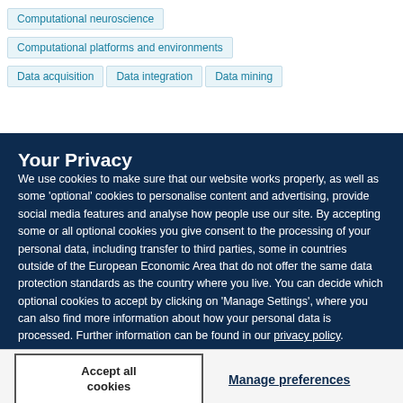Computational neuroscience
Computational platforms and environments
Data acquisition
Data integration
Data mining
Your Privacy
We use cookies to make sure that our website works properly, as well as some ‘optional’ cookies to personalise content and advertising, provide social media features and analyse how people use our site. By accepting some or all optional cookies you give consent to the processing of your personal data, including transfer to third parties, some in countries outside of the European Economic Area that do not offer the same data protection standards as the country where you live. You can decide which optional cookies to accept by clicking on ‘Manage Settings’, where you can also find more information about how your personal data is processed. Further information can be found in our privacy policy.
Accept all cookies
Manage preferences